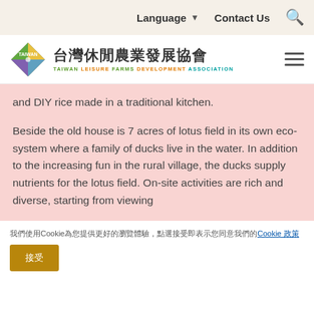Language ▼  Contact Us  🔍
[Figure (logo): Taiwan Leisure Farms Development Association logo with diamond-shaped icon and Chinese text 台灣休閒農業發展協會]
and DIY rice made in a traditional kitchen.
Beside the old house is 7 acres of lotus field in its own eco-system where a family of ducks live in the water. In addition to the increasing fun in the rural village, the ducks supply nutrients for the lotus field. On-site activities are rich and diverse, starting from viewing
我們使用Cookie為您提供更好的瀏覽體驗，點選接受即表示您同意我們的Cookie 政策
接受